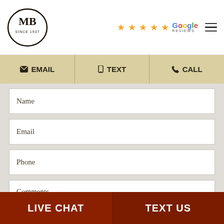[Figure (logo): MB Since 1937 oval logo with black border]
[Figure (infographic): Five gold stars with Google Reviews text]
EMAIL
TEXT
CALL
Name
Email
Phone
Comments
0 of 400 max characters
LIVE CHAT
TEXT US